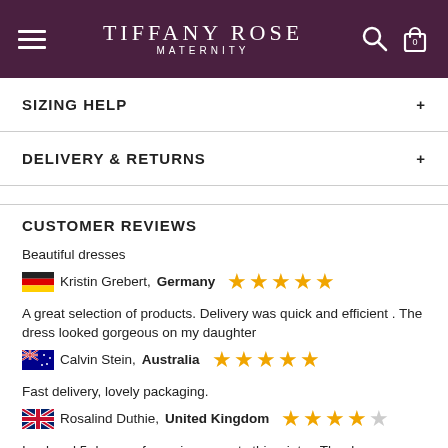TIFFANY ROSE MATERNITY
SIZING HELP
DELIVERY & RETURNS
CUSTOMER REVIEWS
Beautiful dresses
Kristin Grebert, Germany ★★★★★
A great selection of products. Delivery was quick and efficient . The dress looked gorgeous on my daughter
Calvin Stein, Australia ★★★★★
Fast delivery, lovely packaging.
Rosalind Duthie, United Kingdom ★★★★☆
I ordered 5 dresses for various events this winter. The dresses arrived to my house in the USA in 3 days time. I ended up sending 3 dresses back because they just didn't fit quite right -which was a very easy return process, with DHL picking up the